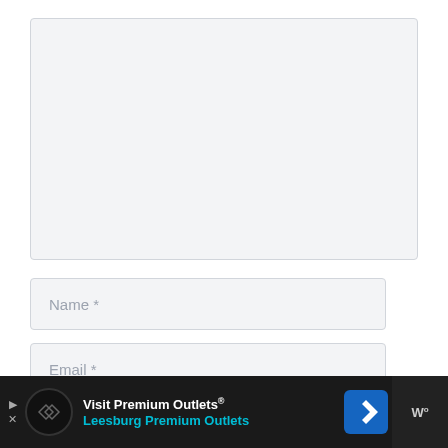[Figure (screenshot): Large empty textarea input field with light gray background and border, with a resize handle in the bottom-right corner]
Name *
Email *
Website
[Figure (screenshot): Advertisement banner for Visit Premium Outlets - Leesburg Premium Outlets, with circular logo, navigation arrow icon, and brand mark on dark background]